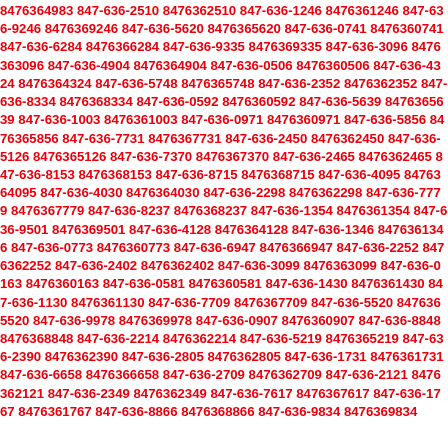8476364983 847-636-2510 8476362510 847-636-1246 8476361246 847-636-9246 8476369246 847-636-5620 8476365620 847-636-0741 8476360741 847-636-6284 8476366284 847-636-9335 8476369335 847-636-3096 8476363096 847-636-4904 8476364904 847-636-0506 8476360506 847-636-4324 8476364324 847-636-5748 8476365748 847-636-2352 8476362352 847-636-8334 8476368334 847-636-0592 8476360592 847-636-5639 8476365639 847-636-1003 8476361003 847-636-0971 8476360971 847-636-5856 8476365856 847-636-7731 8476367731 847-636-2450 8476362450 847-636-5126 8476365126 847-636-7370 8476367370 847-636-2465 8476362465 847-636-8153 8476368153 847-636-8715 8476368715 847-636-4095 8476364095 847-636-4030 8476364030 847-636-2298 8476362298 847-636-7779 8476367779 847-636-8237 8476368237 847-636-1354 8476361354 847-636-9501 8476369501 847-636-4128 8476364128 847-636-1346 8476361346 847-636-0773 8476360773 847-636-6947 8476366947 847-636-2252 8476362252 847-636-2402 8476362402 847-636-3099 8476363099 847-636-0163 8476360163 847-636-0581 8476360581 847-636-1430 8476361430 847-636-1130 8476361130 847-636-7709 8476367709 847-636-5520 8476365520 847-636-9978 8476369978 847-636-0907 8476360907 847-636-8848 8476368848 847-636-2214 8476362214 847-636-5219 8476365219 847-636-2390 8476362390 847-636-2805 8476362805 847-636-1731 8476361731 847-636-6658 8476366658 847-636-2709 8476362709 847-636-2121 8476362121 847-636-2349 8476362349 847-636-7617 8476367617 847-636-1767 8476361767 847-636-8866 8476368866 847-636-9834 8476369834